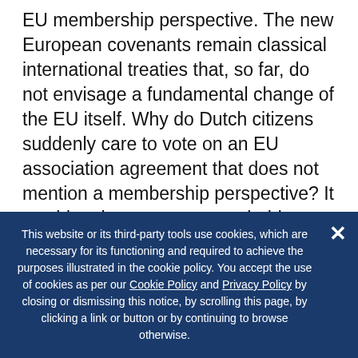EU membership perspective. The new European covenants remain classical international treaties that, so far, do not envisage a fundamental change of the EU itself. Why do Dutch citizens suddenly care to vote on an EU association agreement that does not mention a membership perspective? It would make more sense to hold referenda on the EU's older association agreements with Turkey or the Western Balkan states that do include membership perspectives, and are thus potentially more consequential for Dutch citizens.
This website or its third-party tools use cookies, which are necessary for its functioning and required to achieve the purposes illustrated in the cookie policy. You accept the use of cookies as per our Cookie Policy and Privacy Policy by closing or dismissing this notice, by scrolling this page, by clicking a link or button or by continuing to browse otherwise.